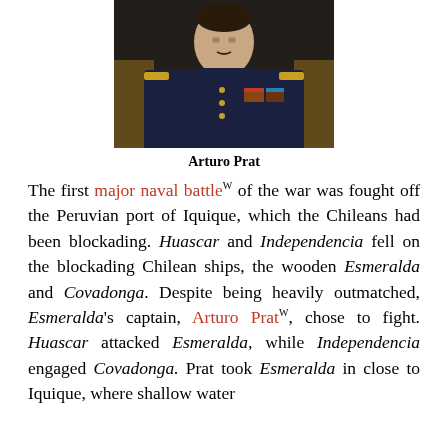[Figure (photo): Portrait painting of Arturo Prat in naval uniform with medals]
Arturo Prat
The first major naval battle of the war was fought off the Peruvian port of Iquique, which the Chileans had been blockading. Huascar and Independencia fell on the blockading Chilean ships, the wooden Esmeralda and Covadonga. Despite being heavily outmatched, Esmeralda's captain, Arturo Prat, chose to fight. Huascar attacked Esmeralda, while Independencia engaged Covadonga. Prat took Esmeralda in close to Iquique, where shallow water prevented Huascar from closing in. Eventually, the